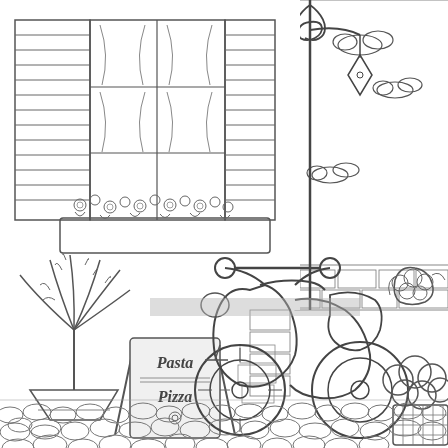[Figure (illustration): A black and white coloring page illustration of an Italian street scene. Features a window with shutters and a flower box in the upper left, a decorative street lamp/sign post with a hanging lantern in the upper center, clouds in the upper right, a stone building wall with brick details, a Vespa-style scooter parked on a cobblestone street in the center, a potted plant/palm on the left, a chalkboard sandwich sign reading 'Pasta Pizza' on the lower left, shrubs and a wicker basket planter on the right, and a cobblestone/pebble street in the foreground.]